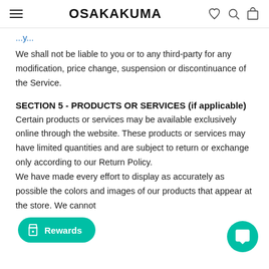OSAKAKUMA
We shall not be liable to you or to any third-party for any modification, price change, suspension or discontinuance of the Service.
SECTION 5 - PRODUCTS OR SERVICES (if applicable)
Certain products or services may be available exclusively online through the website. These products or services may have limited quantities and are subject to return or exchange only according to our Return Policy.
We have made every effort to display as accurately as possible the colors and images of our products that appear at the store. We cannot